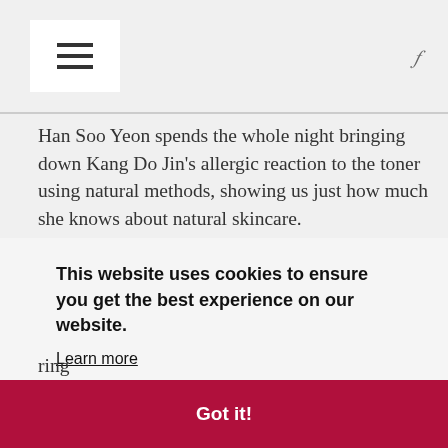hamburger menu and search icon
Han Soo Yeon spends the whole night bringing down Kang Do Jin's allergic reaction to the toner using natural methods, showing us just how much she knows about natural skincare.
During this time the possibility that Kang Do Jin might like Han Soo Yeon more than just as a friend is hinted. He ...ggests ...ing ...guilt, ...e's ...ring for him. It's not that she cares that deeply about him as
This website uses cookies to ensure you get the best experience on our website. Learn more
Got it!
for him. It's not that she cares that deeply about him as